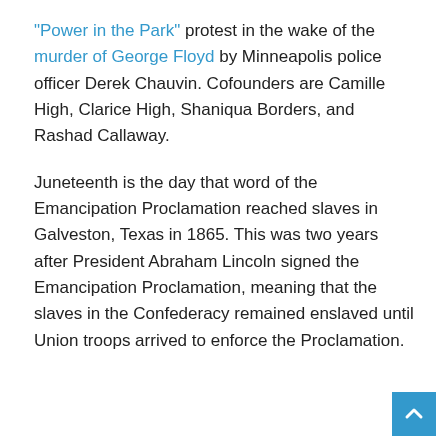"Power in the Park" protest in the wake of the murder of George Floyd by Minneapolis police officer Derek Chauvin. Cofounders are Camille High, Clarice High, Shaniqua Borders, and Rashad Callaway.
Juneteenth is the day that word of the Emancipation Proclamation reached slaves in Galveston, Texas in 1865. This was two years after President Abraham Lincoln signed the Emancipation Proclamation, meaning that the slaves in the Confederacy remained enslaved until Union troops arrived to enforce the Proclamation.